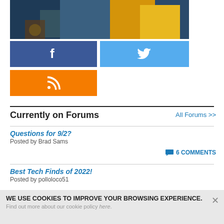[Figure (photo): Partial photo showing abstract blocks in teal/blue and yellow/gold colors on a wooden surface]
[Figure (infographic): Social media buttons: Facebook (dark blue with f icon), Twitter (light blue with bird icon), RSS (orange with RSS icon)]
Currently on Forums
All Forums >>
Questions for 9/2?
Posted by Brad Sams
6 COMMENTS
Best Tech Finds of 2022!
Posted by polloloco51
WE USE COOKIES TO IMPROVE YOUR BROWSING EXPERIENCE.
Find out more about our cookie policy here.